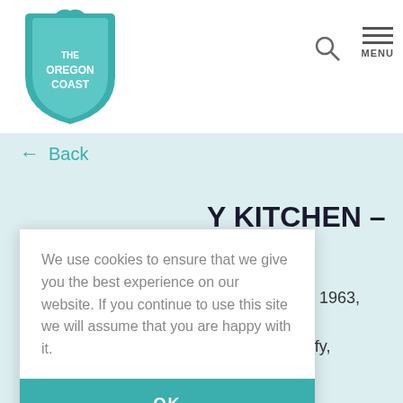[Figure (logo): The Oregon Coast shield logo in teal/blue colors with a whale tail on top]
The Oregon Coast — search and menu navigation header
← Back
Y KITCHEN – H
tradition since 1963, Bruce's ls salt water taffy, d more.
n Beach
We use cookies to ensure that we give you the best experience on our website. If you continue to use this site we will assume that you are happy with it.
OK